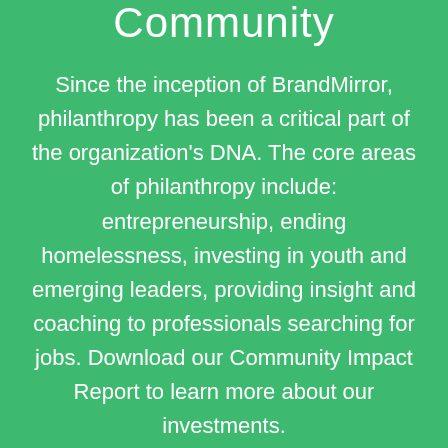Community
Since the inception of BrandMirror, philanthropy has been a critical part of the organization's DNA. The core areas of philanthropy include: entrepreneurship, ending homelessness, investing in youth and emerging leaders, providing insight and coaching to professionals searching for jobs. Download our Community Impact Report to learn more about our investments.